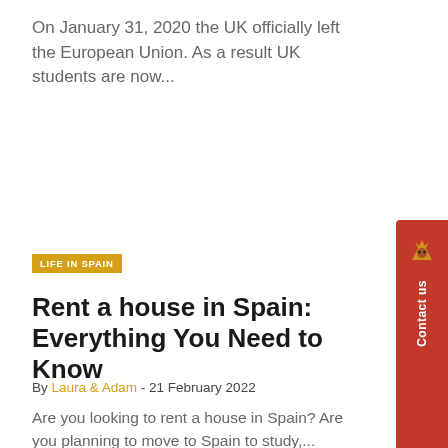On January 31, 2020 the UK officially left the European Union. As a result UK students are now...
LIFE IN SPAIN
Rent a house in Spain: Everything You Need to Know
By Laura & Adam - 21 February 2022
Are you looking to rent a house in Spain? Are you planning to move to Spain to study,...